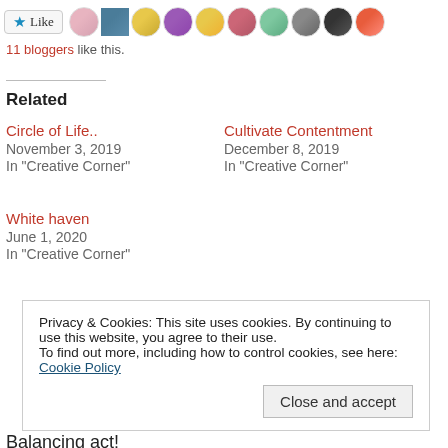[Figure (other): Like button with star icon and a row of blogger avatar photos]
11 bloggers like this.
Related
Circle of Life..
November 3, 2019
In "Creative Corner"
Cultivate Contentment
December 8, 2019
In "Creative Corner"
White haven
June 1, 2020
In "Creative Corner"
Privacy & Cookies: This site uses cookies. By continuing to use this website, you agree to their use.
To find out more, including how to control cookies, see here: Cookie Policy
Close and accept
Balancing act!